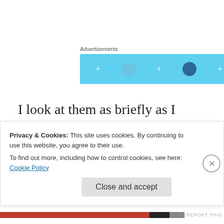[Figure (other): Advertisements banner with light blue background and circular icons/dots]
I look at them as briefly as I would eye the weather on the horizon, assessing whether I need to get my umbrella or take shelter in a root cellar… in that present moment. I find it dangerous to project too much doomsday into the world from my own thoughts and emotions laced with fears of the future. The scary possibilities predicted by people who
Privacy & Cookies: This site uses cookies. By continuing to use this website, you agree to their use.
To find out more, including how to control cookies, see here: Cookie Policy
Close and accept